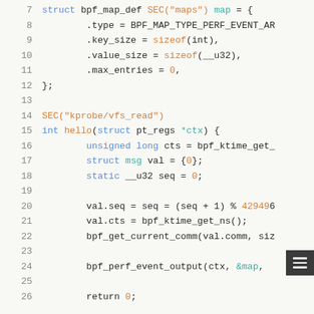[Figure (screenshot): Code editor screenshot showing BPF (Berkeley Packet Filter) C program with syntax highlighting. Lines 7-26 are visible, showing struct bpf_map_def definition and a kprobe function for vfs_read.]